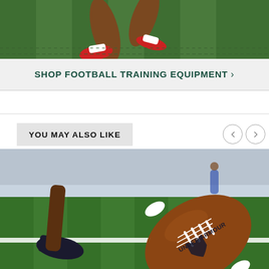[Figure (photo): Football player legs running on green turf field, close-up shot from low angle]
SHOP FOOTBALL TRAINING EQUIPMENT >
YOU MAY ALSO LIKE
[Figure (photo): Under Armour football on green turf field, fish-eye lens close-up with player running in background]